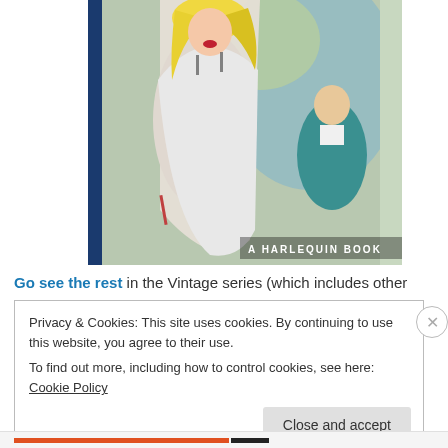[Figure (illustration): Vintage pulp fiction book cover illustration showing a blonde woman in a white dress holding what appears to be a knife, with a man in a teal suit in the background. Text reads 'A HARLEQUIN BOOK' at the bottom right.]
Go see the rest in the Vintage series (which includes other
Privacy & Cookies: This site uses cookies. By continuing to use this website, you agree to their use.
To find out more, including how to control cookies, see here: Cookie Policy